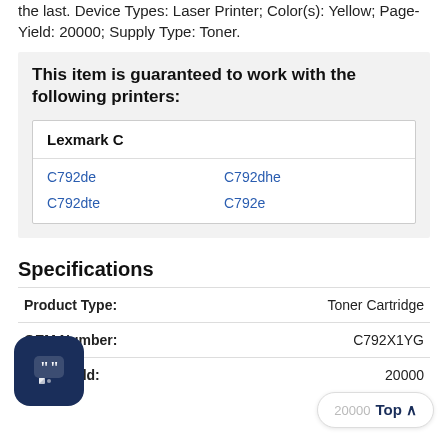the last. Device Types: Laser Printer; Color(s): Yellow; Page-Yield: 20000; Supply Type: Toner.
This item is guaranteed to work with the following printers:
| Lexmark C |
| --- |
| C792de | C792dhe |
| C792dte | C792e |
Specifications
| Field | Value |
| --- | --- |
| Product Type: | Toner Cartridge |
| OEM Number: | C792X1YG |
| Page-Yield: | 20000 |
| Cost Per Page: | 0.02 cents |